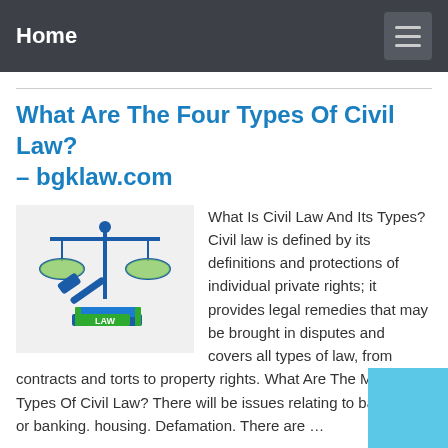Home
What Are The Four Types Of Civil Law? – bgklaw.com
[Figure (illustration): Illustration of scales of justice in blue and green with a gavel and a book labelled LAW]
What Is Civil Law And Its Types? Civil law is defined by its definitions and protections of individual private rights; it provides legal remedies that may be brought in disputes and covers all types of law, from contracts and torts to property rights. What Are The Main Types Of Civil Law? There will be issues relating to bankruptcy or banking. housing. Defamation. There are …
Preview